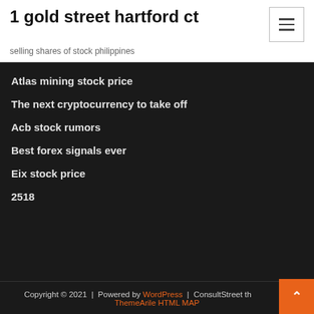1 gold street hartford ct
selling shares of stock philippines
Atlas mining stock price
The next cryptocurrency to take off
Acb stock rumors
Best forex signals ever
Eix stock price
2518
Copyright © 2021  |  Powered by WordPress  |  ConsultStreet theme by ThemeArile HTML MAP